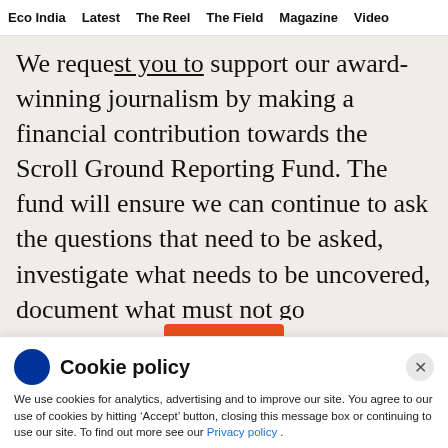Eco India  Latest  The Reel  The Field  Magazine  Video
We request you to support our award-winning journalism by making a financial contribution towards the Scroll Ground Reporting Fund. The fund will ensure we can continue to ask the questions that need to be asked, investigate what needs to be uncovered, document what must not go unrecorded.
Cookie policy
We use cookies for analytics, advertising and to improve our site. You agree to our use of cookies by hitting ‘Accept’ button, closing this message box or continuing to use our site. To find out more see our Privacy policy .
Accept